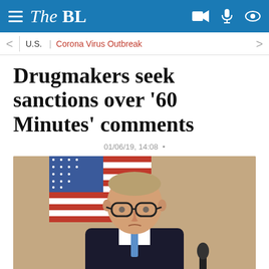The BL
U.S. | Corona Virus Outbreak
Drugmakers seek sanctions over '60 Minutes' comments
01/06/19, 14:08 •
[Figure (photo): Man in dark suit with glasses standing in front of an American flag, possibly at a press conference with a microphone visible]
Social share bar: location pin, Facebook, Twitter, Telegram, WhatsApp, Reddit, Email, Share